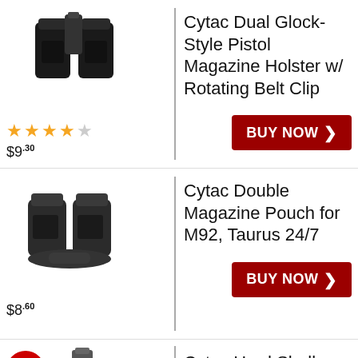[Figure (photo): Black dual magazine holster product photo]
★★★★☆ $9.30
Cytac Dual Glock-Style Pistol Magazine Holster w/ Rotating Belt Clip
BUY NOW
[Figure (photo): Black double magazine pouch product photo]
$8.60
Cytac Double Magazine Pouch for M92, Taurus 24/7
BUY NOW
[Figure (photo): Accessibility icon (wheelchair symbol in red circle) and product photo of hard shell holster]
Cytac Hard Shell Multi-Fit Low Ride